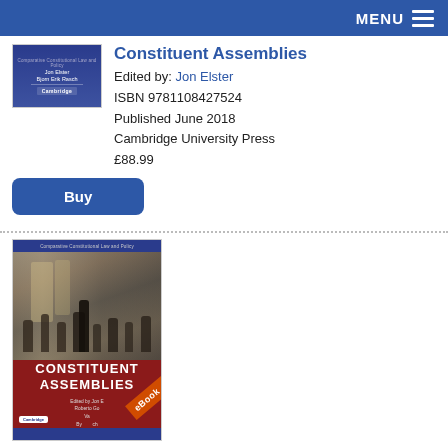MENU
[Figure (illustration): Book cover for Constituent Assemblies showing blue cover with text]
Constituent Assemblies
Edited by: Jon Elster
ISBN 9781108427524
Published June 2018
Cambridge University Press
£88.99
Buy
[Figure (illustration): Book cover for Constituent Assemblies eBook showing historical assembly scene with red lower half and eBook ribbon]
Constituent Assemblies (eBook)
Edited by: Jon Elster